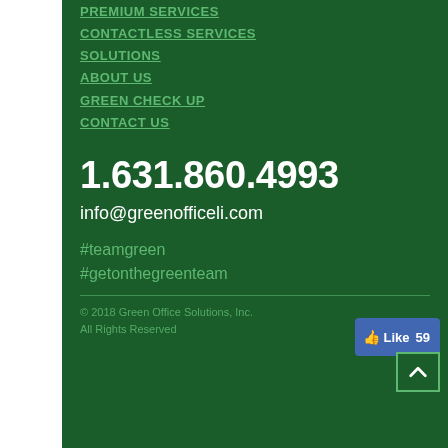PREMIUM SERVICES
CONTACTLESS SERVICES
SOLUTIONS
ABOUT US
GREEN CHECK UP
CONTACT US
1.631.860.4993
info@greenofficeli.com
#teamgreen
#getonthegreenteam
© 2018 Green Office Solutions, Inc.
All Rights Reserved